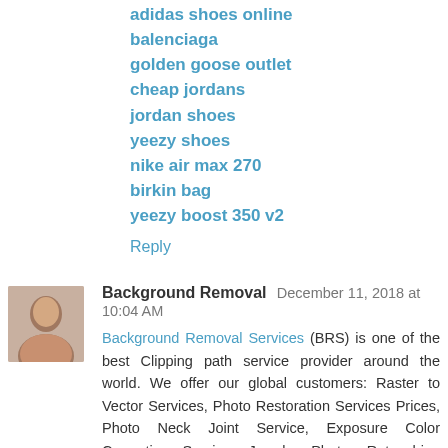adidas shoes online
balenciaga
golden goose outlet
cheap jordans
jordan shoes
yeezy shoes
nike air max 270
birkin bag
yeezy boost 350 v2
Reply
Background Removal   December 11, 2018 at 10:04 AM
Background Removal Services (BRS) is one of the best Clipping path service provider around the world. We offer our global customers: Raster to Vector Services, Photo Restoration Services Prices, Photo Neck Joint Service, Exposure Color Correction Service, Jewelry Photo, Retouching Services, Photo Color Correction Service, Image Mirror Effect Service, Cheap Retouching Services, Deep Etching Service,